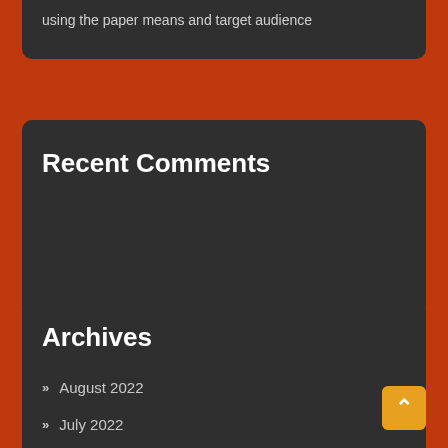using the paper means and target audience
Recent Comments
Archives
August 2022
July 2022
June 2022
May 2022